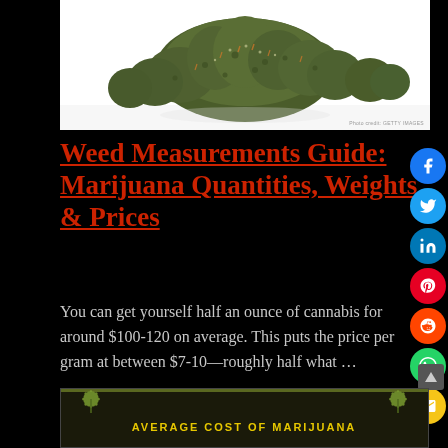[Figure (photo): Pile of cannabis/marijuana buds on white background with Getty Images photo credit]
Weed Measurements Guide: Marijuana Quantities, Weights & Prices
[Figure (infographic): Partial infographic showing 'AVERAGE COST OF MARIJUANA' with cannabis leaf graphics on dark background]
You can get yourself half an ounce of cannabis for around $100-120 on average. This puts the price per gram at between $7-10—roughly half what ...